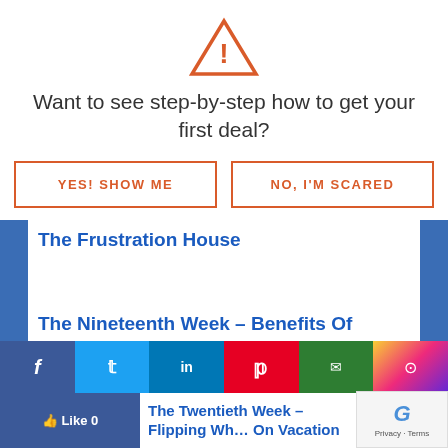[Figure (illustration): Warning/alert triangle icon in orange outline with exclamation mark]
Want to see step-by-step how to get your first deal?
YES! SHOW ME
NO, I'M SCARED
The Frustration House
The Nineteenth Week – Benefits Of Flipping – Vacation
The Twentieth Week – Flipping While On Vacation